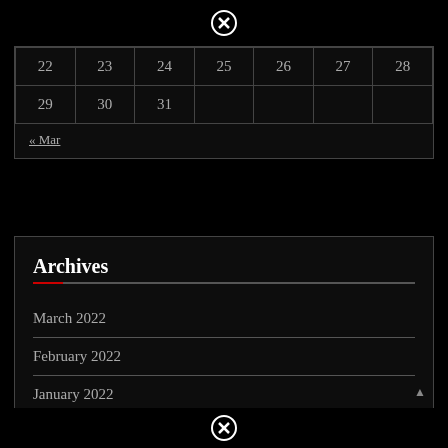[Figure (other): Close button icon (circled X) at top]
| 22 | 23 | 24 | 25 | 26 | 27 | 28 |
| 29 | 30 | 31 |  |  |  |  |
« Mar
Archives
March 2022
February 2022
January 2022
December 2021
[Figure (other): Close button icon (circled X) at bottom]